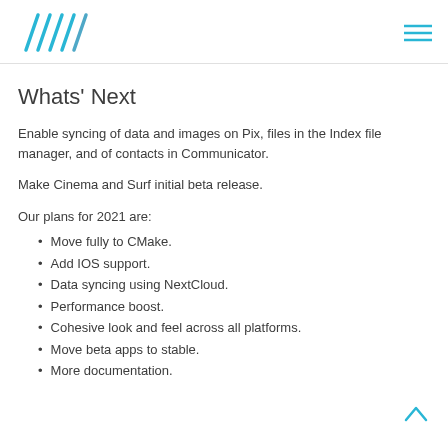Whats' Next
Whats' Next
Enable syncing of data and images on Pix, files in the Index file manager, and of contacts in Communicator.
Make Cinema and Surf initial beta release.
Our plans for 2021 are:
Move fully to CMake.
Add IOS support.
Data syncing using NextCloud.
Performance boost.
Cohesive look and feel across all platforms.
Move beta apps to stable.
More documentation.